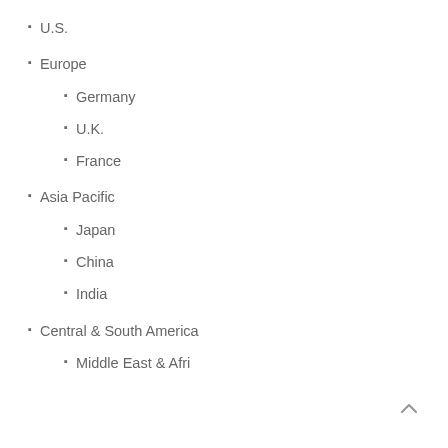U.S.
Europe
Germany
U.K.
France
Asia Pacific
Japan
China
India
Central & South America
Middle East & Africa